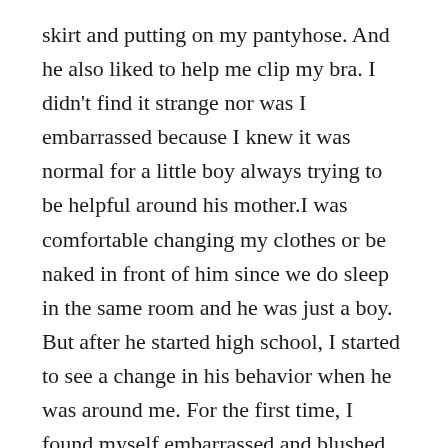skirt and putting on my pantyhose. And he also liked to help me clip my bra. I didn't find it strange nor was I embarrassed because I knew it was normal for a little boy always trying to be helpful around his mother.I was comfortable changing my clothes or be naked in front of him since we do sleep in the same room and he was just a boy. But after he started high school, I started to see a change in his behavior when he was around me. For the first time, I found myself embarrassed and blushed in front of my son when he watched me naked and changing in my clothes. His long stares were making me very uncomfortable. Those stares were no longer an innocent boy just curious of a woman's body, but I saw lust in his eyes. And I was positive about that when I caught my son a few